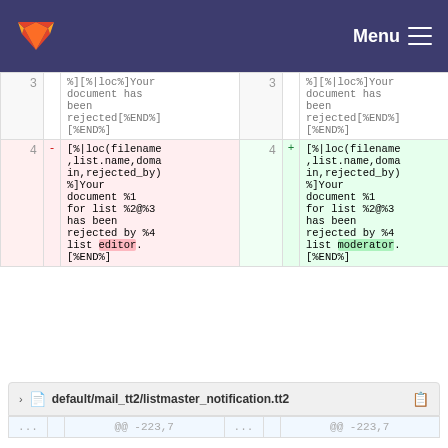GitLab Menu
[Figure (screenshot): Code diff view showing two columns (old and new) for lines 3 and 4 of a file. Line 4 removed shows '[%|loc(filename,list.name,domain,rejected_by)%]Your document %1 for list %2@%3 has been rejected by %4 list editor.[%END%]' and added version shows 'moderator' instead of 'editor'.]
| Old line | - | Old code | New line | + | New code |
| --- | --- | --- | --- | --- | --- |
| 3 |  |  | 3 |  |  |
| 4 | - | [%|loc(filename,list.name,domain,rejected_by)%]Your document %1 for list %2@%3 has been rejected by %4 list editor.[%END%] | 4 | + | [%|loc(filename,list.name,domain,rejected_by)%]Your document %1 for list %2@%3 has been rejected by %4 list moderator.[%END%] |
default/mail_tt2/listmaster_notification.tt2
| ... | @@ -223,7 | ... | @@ -223,7 |
| --- | --- | --- | --- |